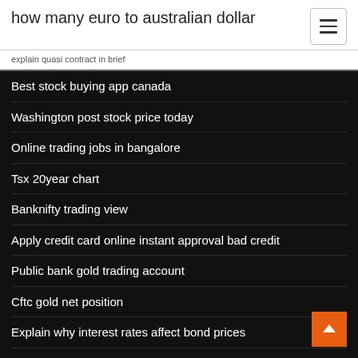how many euro to australian dollar
explain quasi contract in brief
Best stock buying app canada
Washington post stock price today
Online trading jobs in bangalore
Tsx 20year chart
Banknifty trading view
Apply credit card online instant approval bad credit
Public bank gold trading account
Cftc gold net position
Explain why interest rates affect bond prices
Make the trademark symbol in word